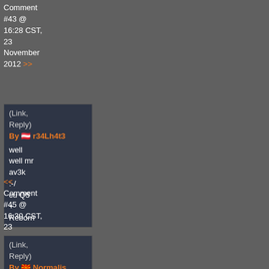Comment #43 @ 16:28 CST, 23 November 2012 >>
(Link, Reply)
By [AT flag] r34Lh4t3

well well mr av3k :-/ cu Q5 + Reborn
<< Comment #45 @ 16:30 CST, 23 November 2012 >>
(Link, Reply)
By [MK flag] Normalis

av3k <3